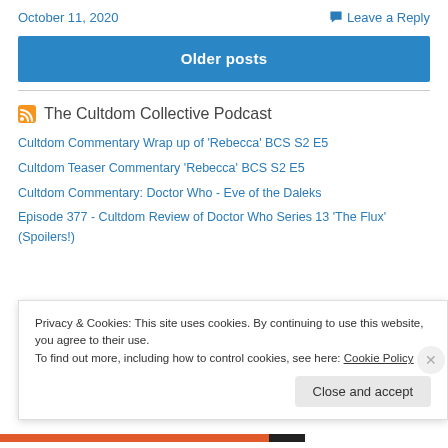October 11, 2020
Leave a Reply
Older posts
The Cultdom Collective Podcast
Cultdom Commentary Wrap up of 'Rebecca' BCS S2 E5
Cultdom Teaser Commentary 'Rebecca' BCS S2 E5
Cultdom Commentary: Doctor Who - Eve of the Daleks
Episode 377 - Cultdom Review of Doctor Who Series 13 'The Flux' (Spoilers!)
Privacy & Cookies: This site uses cookies. By continuing to use this website, you agree to their use.
To find out more, including how to control cookies, see here: Cookie Policy
Close and accept